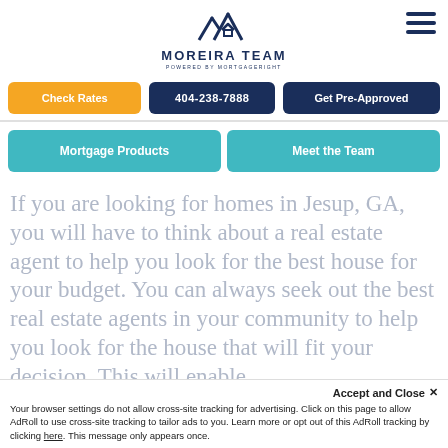[Figure (logo): Moreira Team logo with house/mountain icon and text 'MOREIRA TEAM POWERED BY MORTGAGERIGHT']
Check Rates | 404-238-7888 | Get Pre-Approved
Mortgage Products | Meet the Team
If you are looking for homes in Jesup, GA, you will have to think about a real estate agent to help you look for the best house for your budget. You can always seek out the best real estate agents in your community to help you look for the house that will fit your decision. This will enable
Accept and Close ✕
Your browser settings do not allow cross-site tracking for advertising. Click on this page to allow AdRoll to use cross-site tracking to tailor ads to you. Learn more or opt out of this AdRoll tracking by clicking here. This message only appears once.